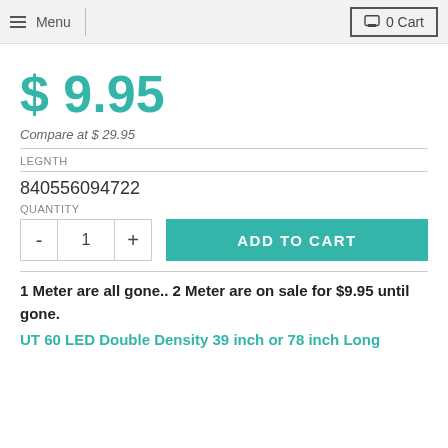≡ Menu  | 🛒 0 Cart
$ 9.95
Compare at $ 29.95
LEGNTH
840556094722
QUANTITY
- 1 + ADD TO CART
1 Meter are all gone.. 2 Meter are on sale for $9.95 until gone.
UT 60 LED Double Density 39 inch or 78 inch Long